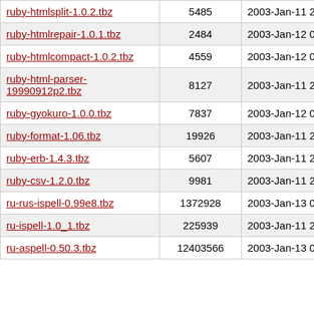| ruby-htmlsplit-1.0.2.tbz | 5485 | 2003-Jan-11 22:17 |
| ruby-htmlrepair-1.0.1.tbz | 2484 | 2003-Jan-12 07:33 |
| ruby-htmlcompact-1.0.2.tbz | 4559 | 2003-Jan-12 07:32 |
| ruby-html-parser-19990912p2.tbz | 8127 | 2003-Jan-11 22:17 |
| ruby-gyokuro-1.0.0.tbz | 7837 | 2003-Jan-12 07:31 |
| ruby-format-1.06.tbz | 19926 | 2003-Jan-11 22:17 |
| ruby-erb-1.4.3.tbz | 5607 | 2003-Jan-11 22:17 |
| ruby-csv-1.2.0.tbz | 9981 | 2003-Jan-11 22:17 |
| ru-rus-ispell-0.99e8.tbz | 1372928 | 2003-Jan-13 08:24 |
| ru-ispell-1.0_1.tbz | 225939 | 2003-Jan-11 22:59 |
| ru-aspell-0.50.3.tbz | 12403566 | 2003-Jan-13 08:36 |